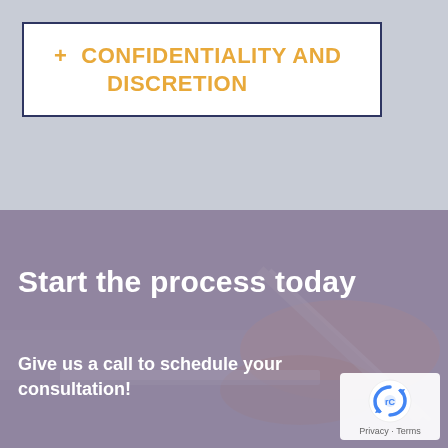+ CONFIDENTIALITY AND DISCRETION
Start the process today
Give us a call to schedule your consultation!
[Figure (logo): reCAPTCHA badge with Privacy and Terms links]